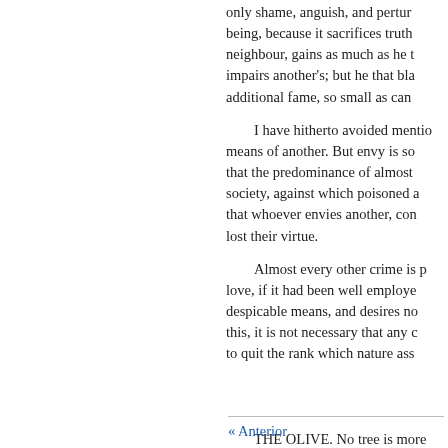only shame, anguish, and pertur being, because it sacrifices truth neighbour, gains as much as he t impairs another's; but he that bla additional fame, so small as can
I have hitherto avoided mentio means of another. But envy is so that the predominance of almost society, against which poisoned a that whoever envies another, con lost their virtue.
Almost every other crime is p love, if it had been well employe despicable means, and desires no this, it is not necessary that any c to quit the rank which nature ass
THE OLIVE. No tree is more honoured by ancient nations, tha formed the crown of
« Anterior